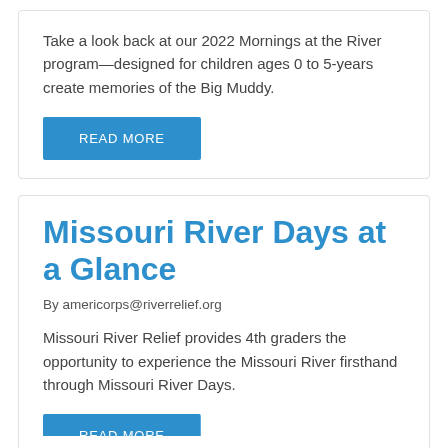Take a look back at our 2022 Mornings at the River program—designed for children ages 0 to 5-years create memories of the Big Muddy.
READ MORE
Missouri River Days at a Glance
By americorps@riverrelief.org
Missouri River Relief provides 4th graders the opportunity to experience the Missouri River firsthand through Missouri River Days.